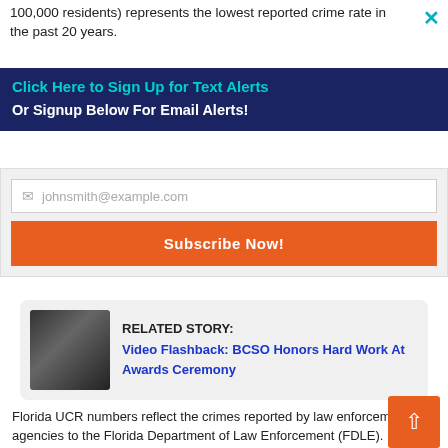100,000 residents) represents the lowest reported crime rate in the past 20 years.
Click Here to Sign Up for Text Alerts
Or Signup Below For Email Alerts!
johnsmith@example.com
Subscribe Now!
RELATED STORY: Video Flashback: BCSO Honors Hard Work At Awards Ceremony
Florida UCR numbers reflect the crimes reported by law enforcement agencies to the Florida Department of Law Enforcement (FDLE).
The UCR focuses on seven major crimes, which include: homicide, robbery, forcible rape, burglary, aggravated assault,